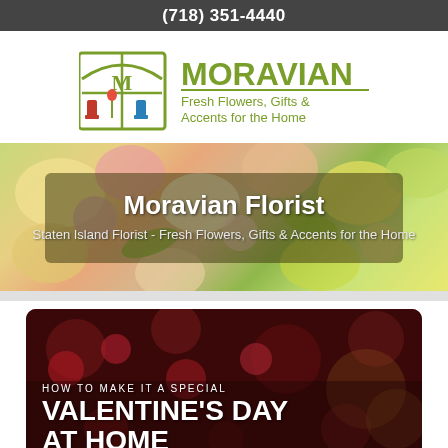(718) 351-4440
[Figure (logo): Moravian florist logo: arched window with flowers and vases, with text MORAVIAN Fresh Flowers, Gifts & Accents for the Home]
[Figure (photo): Hero banner with colorful flower arrangement background and dark semi-transparent overlay]
Moravian Florist
Staten Island Florist - Fresh Flowers, Gifts & Accents for the Home
[Figure (photo): Valentine's Day promotional image with red roses and bokeh background, overlaid with text: HOW TO MAKE IT A SPECIAL VALENTINE'S DAY AT HOME]